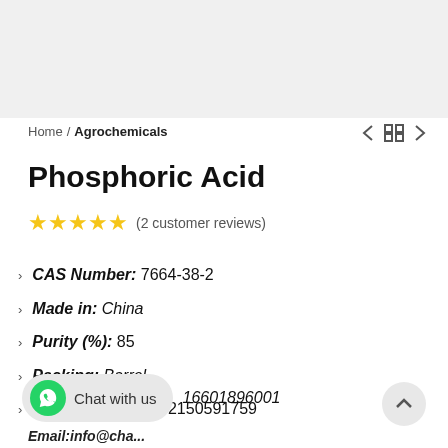[Figure (other): Product image area (blurred/placeholder) for Phosphoric Acid]
Home / Agrochemicals
Phosphoric Acid
★★★★★ (2 customer reviews)
CAS Number: 7664-38-2
Made in: China
Purity (%): 85
Packing: Barrel
Phone Num : +86-2150591759
Chat with us  16601896001